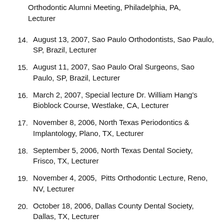Orthodontic Alumni Meeting, Philadelphia, PA, Lecturer
14. August 13, 2007, Sao Paulo Orthodontists, Sao Paulo, SP, Brazil, Lecturer
15. August 11, 2007, Sao Paulo Oral Surgeons, Sao Paulo, SP, Brazil, Lecturer
16. March 2, 2007, Special lecture Dr. William Hang's Bioblock Course, Westlake, CA, Lecturer
17. November 8, 2006, North Texas Periodontics & Implantology, Plano, TX, Lecturer
18. September 5, 2006, North Texas Dental Society, Frisco, TX, Lecturer
19. November 4, 2005,  Pitts Orthodontic Lecture, Reno, NV, Lecturer
20. October 18, 2006, Dallas County Dental Society, Dallas, TX, Lecturer